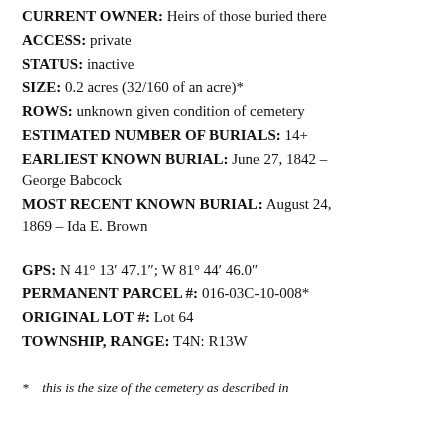CURRENT OWNER: Heirs of those buried there
ACCESS: private
STATUS: inactive
SIZE: 0.2 acres (32/160 of an acre)*
ROWS: unknown given condition of cemetery
ESTIMATED NUMBER OF BURIALS: 14+
EARLIEST KNOWN BURIAL: June 27, 1842 – George Babcock
MOST RECENT KNOWN BURIAL: August 24, 1869 – Ida E. Brown
GPS: N 41° 13′ 47.1″; W 81° 44′ 46.0″
PERMANENT PARCEL #: 016-03C-10-008*
ORIGINAL LOT #: Lot 64
TOWNSHIP, RANGE: T4N: R13W
*   this is the size of the cemetery as described in